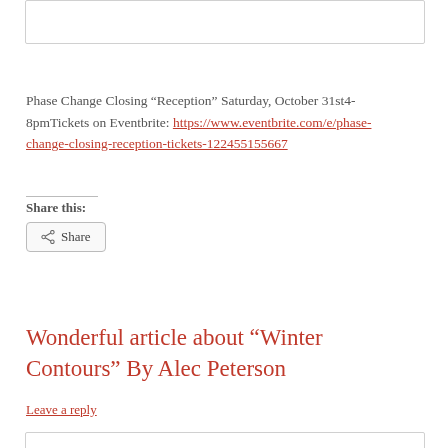Phase Change Closing “Reception” Saturday, October 31st4-8pmTickets on Eventbrite: https://www.eventbrite.com/e/phase-change-closing-reception-tickets-122455155667
Share this:
Share
Wonderful article about “Winter Contours” By Alec Peterson
Leave a reply